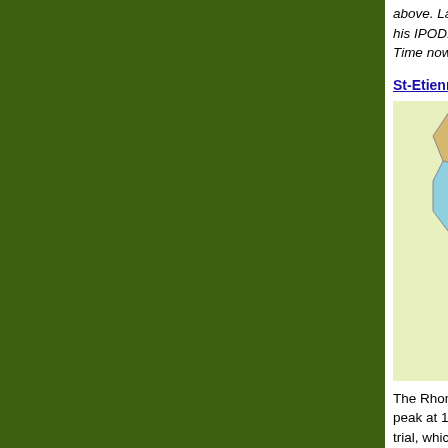above. Lance the f... his IPOD. See, he... Time now to get ou...
St-Etienne to St-E...
[Figure (map): Illustrated map of Rhone-Alps region showing cities: Roanne, Lyon, Saint Etienne, Valence, Privas, Montélimar, with colorful food and cultural illustrations]
The Rhone-Alps re... peak at 15,771 fee... trial, which is a loo... and industrial engi... gastronomic capita...